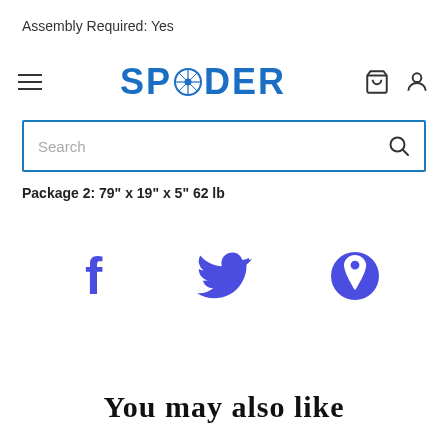Assembly Required: Yes
[Figure (logo): Spider brand logo with stylized blue text and compass/spider icon in the center letter D]
[Figure (screenshot): Search bar with placeholder text 'Search' and magnifying glass icon, framed by blue border]
Package 2: 79" x 19" x 5"  62 lb
[Figure (infographic): Three social media icons: Facebook (f), Twitter (bird), Pinterest (P circle), all in purple/indigo color]
You may also like